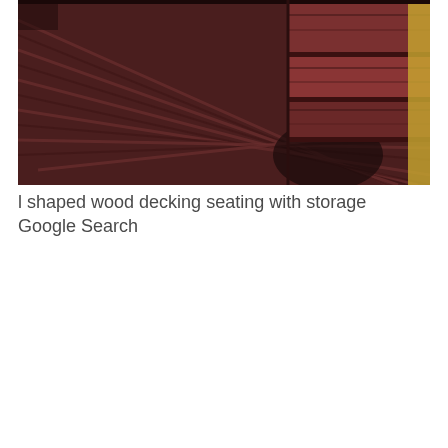[Figure (photo): Photograph of an L-shaped wood decking area with built-in bench seating that has storage underneath. The decking boards are dark reddish-brown hardwood, with steps visible on the right side and a yellow wall partially visible at the far right edge.]
l shaped wood decking seating with storage Google Search